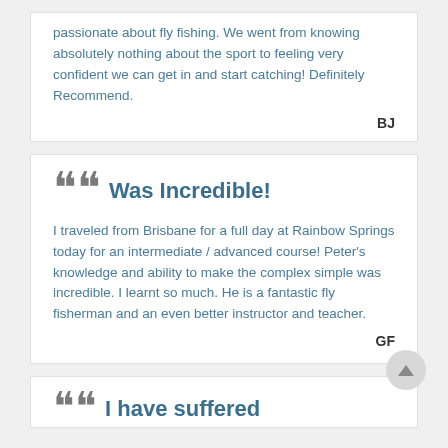passionate about fly fishing.  We went from knowing absolutely nothing about the sport to feeling very confident we can get in and start catching!  Definitely Recommend.
BJ
Was Incredible!
I traveled from Brisbane for a full day at Rainbow Springs today for an intermediate / advanced course! Peter's knowledge and ability to make the complex simple was incredible.  I learnt so much. He is a fantastic fly fisherman and an even better instructor and teacher.
GF
I have suffered